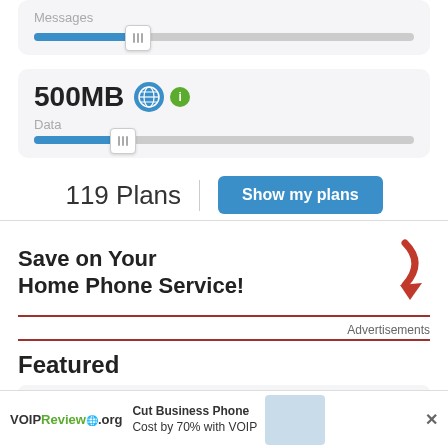[Figure (screenshot): Partial UI card showing Messages slider]
[Figure (screenshot): UI card showing 500MB Data slider with globe and info icons]
119 Plans
[Figure (screenshot): Show my plans button]
Save on Your Home Phone Service!
Advertisements
Featured
[Figure (screenshot): Ad banner: VOIPReview.org - Cut Business Phone Cost by 70% with VOIP]